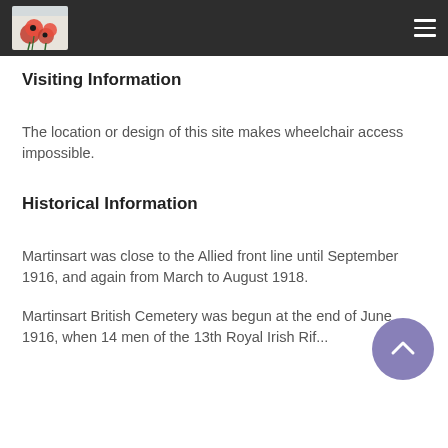[Logo and navigation menu]
Visiting Information
The location or design of this site makes wheelchair access impossible.
Historical Information
Martinsart was close to the Allied front line until September 1916, and again from March to August 1918.
Martinsart British Cemetery was begun at the end of June 1916, when 14 men of the 13th Royal Irish Rifles killed by shell on the same occasion, lost their lives.